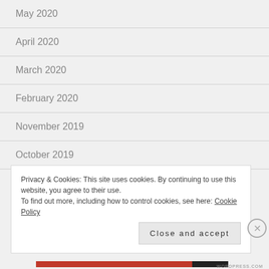May 2020
April 2020
March 2020
February 2020
November 2019
October 2019
Privacy & Cookies: This site uses cookies. By continuing to use this website, you agree to their use.
To find out more, including how to control cookies, see here: Cookie Policy
Close and accept